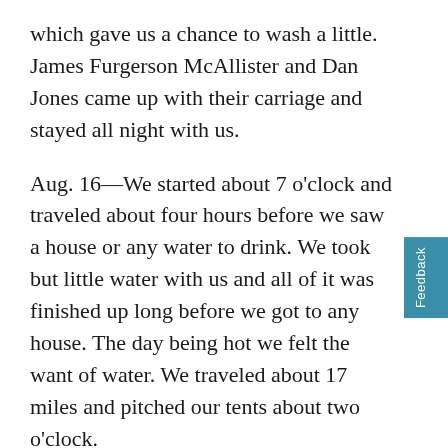which gave us a chance to wash a little. James Furgerson McAllister and Dan Jones came up with their carriage and stayed all night with us.
Aug. 16—We started about 7 o'clock and traveled about four hours before we saw a house or any water to drink. We took but little water with us and all of it was finished up long before we got to any house. The day being hot we felt the want of water. We traveled about 17 miles and pitched our tents about two o'clock.
Aug. 17—Sunday. We started about 7 o'clock this morning and traveled all day without seeing a house or even a tree except a few at a distance. Nothing but prairie grass to be seen. We traveled